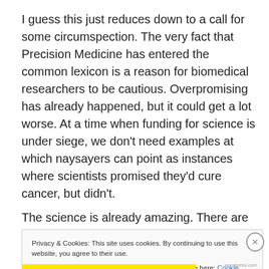I guess this just reduces down to a call for some circumspection. The very fact that Precision Medicine has entered the common lexicon is a reason for biomedical researchers to be cautious. Overpromising has already happened, but it could get a lot worse. At a time when funding for science is under siege, we don't need examples at which naysayers can point as instances where scientists promised they'd cure cancer, but didn't.
The science is already amazing. There are terrific things
Privacy & Cookies: This site uses cookies. By continuing to use this website, you agree to their use.
To find out more, including how to control cookies, see here: Cookie Policy